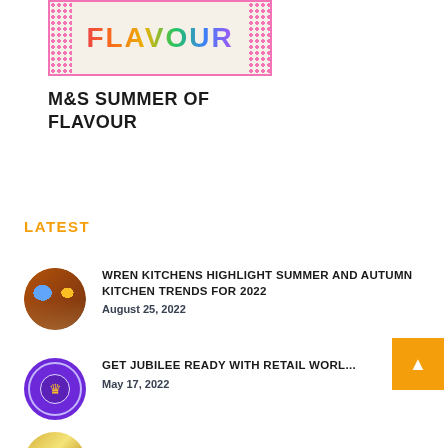[Figure (illustration): M&S Summer of Flavour banner image with colorful FLAVOUR text and pink dotted border pattern on cream background]
M&S SUMMER OF FLAVOUR
LATEST
[Figure (photo): Circular thumbnail of a kitchen interior with brick walls and modern furnishings]
WREN KITCHENS HIGHLIGHT SUMMER AND AUTUMN KITCHEN TRENDS FOR 2022
August 25, 2022
[Figure (logo): Circular purple logo for The Queen's Platinum Jubilee 2022]
GET JUBILEE READY WITH RETAIL WORLD
May 17, 2022
[Figure (photo): Circular gold-toned thumbnail image]